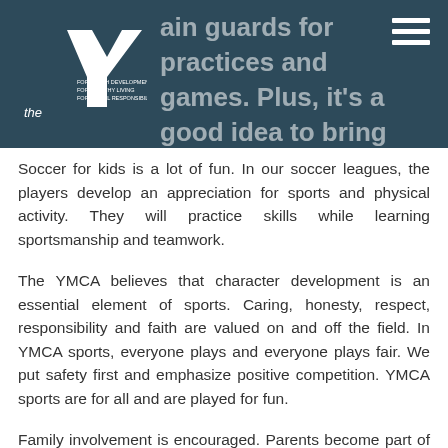ain guards for practices and games. Plus, it's a good idea to bring some water. All other equipment is provided by the Y.
Soccer for kids is a lot of fun. In our soccer leagues, the players develop an appreciation for sports and physical activity. They will practice skills while learning sportsmanship and teamwork.
The YMCA believes that character development is an essential element of sports. Caring, honesty, respect, responsibility and faith are valued on and off the field. In YMCA sports, everyone plays and everyone plays fair. We put safety first and emphasize positive competition. YMCA sports are for all and are played for fun.
Family involvement is encouraged. Parents become part of the Y community and enjoy supporting their children together at practices and games. Parents and